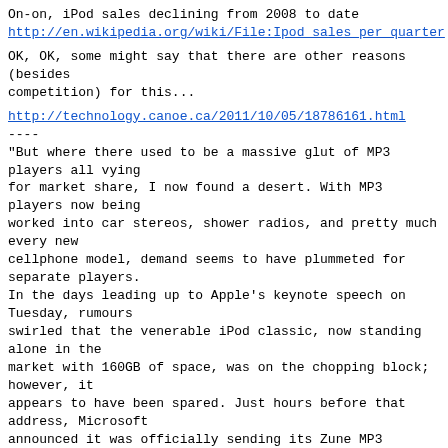On-on, iPod sales declining from 2008 to date
http://en.wikipedia.org/wiki/File:Ipod_sales_per_quarter
OK, OK, some might say that there are other reasons (besides competition) for this...
http://technology.canoe.ca/2011/10/05/18786161.html
----
"But where there used to be a massive glut of MP3 players all vying for market share, I now found a desert. With MP3 players now being worked into car stereos, shower radios, and pretty much every new cellphone model, demand seems to have plummeted for separate players. In the days leading up to Apple's keynote speech on Tuesday, rumours swirled that the venerable iPod classic, now standing alone in the market with 160GB of space, was on the chopping block; however, it appears to have been spared. Just hours before that address, Microsoft announced it was officially sending its Zune MP3 players -- including a roomy 120GB model -- to that great electronic recycling depot in the sky."